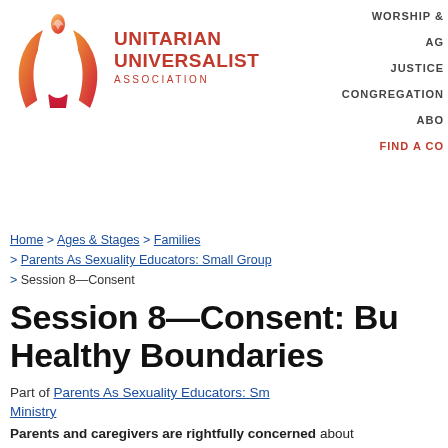[Figure (logo): Unitarian Universalist Association logo: flame icon in red-orange gradient with UU chalice shape, next to text 'UNITARIAN UNIVERSALIST ASSOCIATION' in red]
WORSHIP &
AG
JUSTICE
CONGREGATION
ABO
FIND A CO
Home > Ages & Stages > Families > Parents As Sexuality Educators: Small Group > Session 8—Consent
Session 8—Consent: Bu Healthy Boundaries
Part of Parents As Sexuality Educators: Sm Ministry
Parents and caregivers are rightfully concerned about their children's exposure to unwanted touching or sex